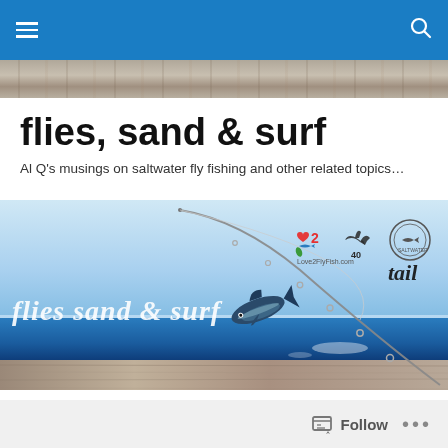Navigation bar with hamburger menu and search icon
flies, sand & surf
Al Q's musings on saltwater fly fishing and other related topics…
[Figure (photo): Website banner image showing a fly fishing rod arcing over ocean water with a fish leaping, overlaid with 'flies sand & surf' text in white script, plus sponsor logos including Love2FlyFish, a shark silhouette logo, a circular badge, and 'tail' text]
surfs up at the rendezvous...
Follow ...